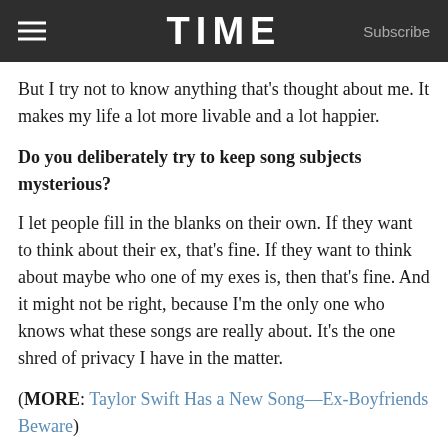TIME   Subscribe
But I try not to know anything that's thought about me. It makes my life a lot more livable and a lot happier.
Do you deliberately try to keep song subjects mysterious?
I let people fill in the blanks on their own. If they want to think about their ex, that's fine. If they want to think about maybe who one of my exes is, then that's fine. And it might not be right, because I'm the only one who knows what these songs are really about. It's the one shred of privacy I have in the matter.
(MORE: Taylor Swift Has a New Song—Ex-Boyfriends Beware)
So Variety is reporting you just signed on to play Joni Mitchell in a movie—
That actually turns out to be false. I would never sign on after reading